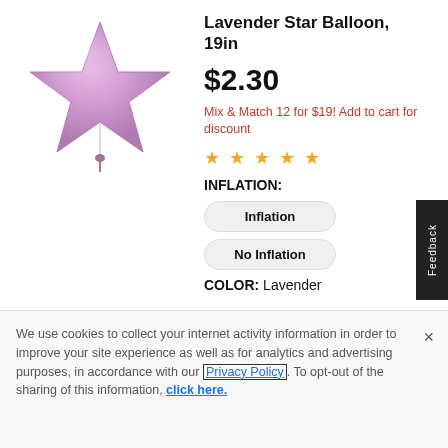[Figure (photo): Lavender star-shaped foil balloon product image]
Lavender Star Balloon, 19in
$2.30
Mix & Match 12 for $19! Add to cart for discount
★★★★★ (5 stars)
INFLATION:
Inflation
No Inflation
COLOR: Lavender
We use cookies to collect your internet activity information in order to improve your site experience as well as for analytics and advertising purposes, in accordance with our Privacy Policy. To opt-out of the sharing of this information, click here.